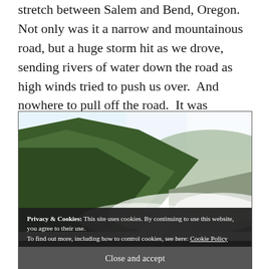stretch between Salem and Bend, Oregon. Not only was it a narrow and mountainous road, but a huge storm hit as we drove, sending rivers of water down the road as high winds tried to push us over. And nowhere to pull off the road. It was intense!
[Figure (photo): A mountainous forested landscape with evergreen trees on steep hillsides, low clouds or mist in the valley, and a bright sky. Appears to be taken from a vehicle on a mountain road in Oregon.]
Privacy & Cookies: This site uses cookies. By continuing to use this website, you agree to their use. To find out more, including how to control cookies, see here: Cookie Policy
Close and accept